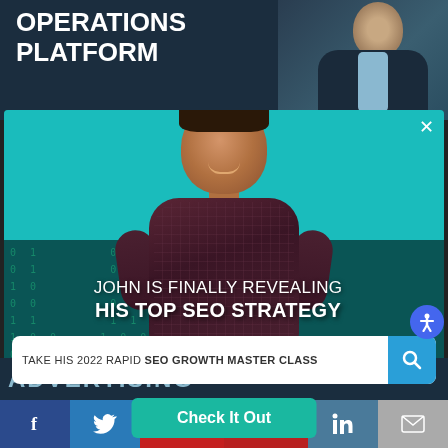[Figure (screenshot): Top dark banner with bold text 'OPERATIONS PLATFORM' and partially visible suited person on right]
[Figure (screenshot): Popup modal with teal background showing a smiling man, binary number decorations, headline text 'JOHN IS FINALLY REVEALING HIS TOP SEO STRATEGY', a search bar reading 'TAKE HIS 2022 RAPID SEO GROWTH MASTER CLASS', a 'Check It Out' CTA button, close X button, and accessibility icon]
JOHN IS FINALLY REVEALING HIS TOP SEO STRATEGY
TAKE HIS 2022 RAPID SEO GROWTH MASTER CLASS
Check It Out
ADVERTISING
[Figure (infographic): Social sharing bar with icons for Facebook, Twitter, Google+, Pinterest, LinkedIn, and Email]